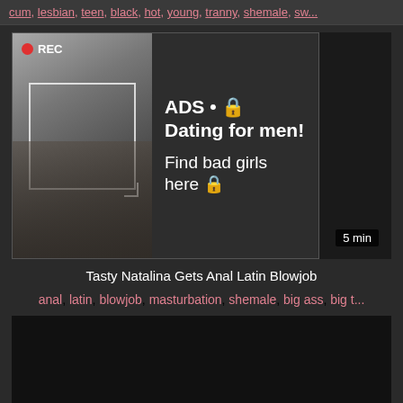cum, lesbian, teen, black, hot, young, tranny, shemale, sw...
[Figure (screenshot): Video player with ad overlay showing a woman taking a selfie with REC badge, and text 'ADS • Dating for men! Find bad girls here']
Tasty Natalina Gets Anal Latin Blowjob
anal, latin, blowjob, masturbation, shemale, big ass, big t...
[Figure (screenshot): Second video thumbnail, dark/black frame]